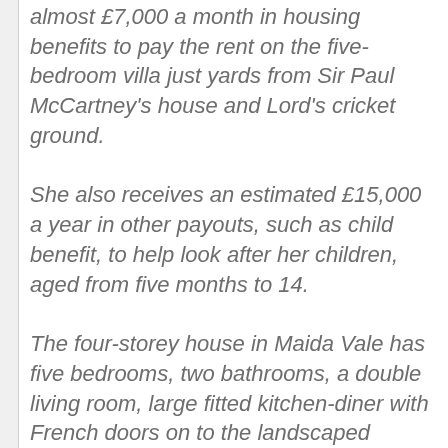almost £7,000 a month in housing benefits to pay the rent on the five-bedroom villa just yards from Sir Paul McCartney's house and Lord's cricket ground.
She also receives an estimated £15,000 a year in other payouts, such as child benefit, to help look after her children, aged from five months to 14.
The four-storey house in Maida Vale has five bedrooms, two bathrooms, a double living room, large fitted kitchen-diner with French doors on to the landscaped garden and a state-of-